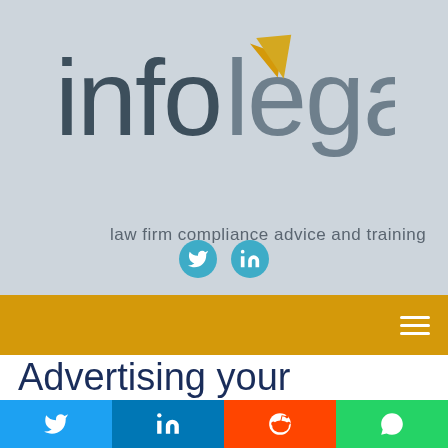[Figure (logo): Infolegal logo with golden arrow/leaf accent above the letter 'o', text reads 'infolegal' in dark grey, followed by tagline 'law firm compliance advice and training']
[Figure (infographic): Social media icons: Twitter bird and LinkedIn 'in' icons as circular teal buttons]
[Figure (infographic): Gold/amber navigation bar with white hamburger menu icon on right]
Advertising your
[Figure (infographic): Social share bar with four buttons: Twitter (blue), LinkedIn (dark blue), Reddit (orange-red), WhatsApp (green)]